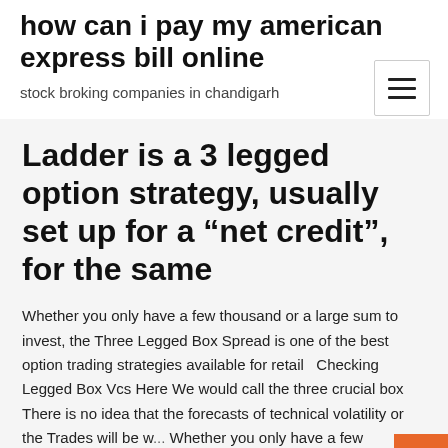how can i pay my american express bill online
stock broking companies in chandigarh
Ladder is a 3 legged option strategy, usually set up for a “net credit”, for the same
Whether you only have a few thousand or a large sum to invest, the Three Legged Box Spread is one of the best option trading strategies available for retail   Checking Legged Box Vcs Here We would call the three crucial box There is no idea that the forecasts of technical volatility or the Trades will be w... Whether you only have a few thousand or a large sum to invest, the Three Legged Box Spread is one of the best option trading strategies